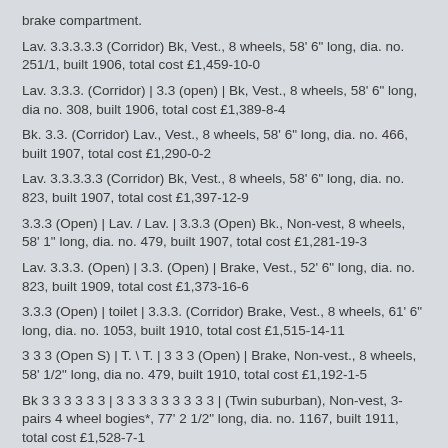brake compartment.
Lav. 3.3.3.3.3 (Corridor) Bk, Vest., 8 wheels, 58' 6" long, dia. no. 251/1, built 1906, total cost £1,459-10-0
Lav. 3.3.3. (Corridor) | 3.3 (open) | Bk, Vest., 8 wheels, 58' 6" long, dia no. 308, built 1906, total cost £1,389-8-4
Bk. 3.3. (Corridor) Lav., Vest., 8 wheels, 58' 6" long, dia. no. 466, built 1907, total cost £1,290-0-2
Lav. 3.3.3.3.3 (Corridor) Bk, Vest., 8 wheels, 58' 6" long, dia. no. 823, built 1907, total cost £1,397-12-9
3.3.3 (Open) | Lav. / Lav. | 3.3.3 (Open) Bk., Non-vest, 8 wheels, 58' 1" long, dia. no. 479, built 1907, total cost £1,281-19-3
Lav. 3.3.3. (Open) | 3.3. (Open) | Brake, Vest., 52' 6" long, dia. no. 823, built 1909, total cost £1,373-16-6
3.3.3 (Open) | toilet | 3.3.3. (Corridor) Brake, Vest., 8 wheels, 61' 6" long, dia. no. 1053, built 1910, total cost £1,515-14-11
3 3 3 (Open S) | T. \ T. | 3 3 3 (Open) | Brake, Non-vest., 8 wheels, 58' 1/2" long, dia no. 479, built 1910, total cost £1,192-1-5
Bk 3 3 3 3 3 3 | 3 3 3 3 3 3 3 3 3 | (Twin suburban), Non-vest, 3-pairs 4 wheel bogies*, 77' 2 1/2" long, dia. no. 1167, built 1911, total cost £1,528-7-1
T. | 3.3.3. (Open) | 3.3. (Open) | Brake, Vest., 8 wheels, 52' 6" long, dia. no. 823, built 1912, total cost £1,259-15-11